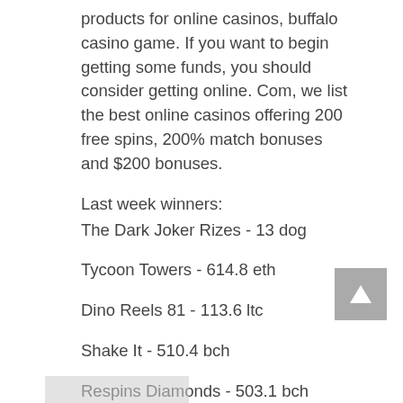products for online casinos, buffalo casino game. If you want to begin getting some funds, you should consider getting online. Com, we list the best online casinos offering 200 free spins, 200% match bonuses and $200 bonuses.
Last week winners:
The Dark Joker Rizes - 13 dog
Tycoon Towers - 614.8 eth
Dino Reels 81 - 113.6 ltc
Shake It - 510.4 bch
Respins Diamonds - 503.1 bch
Stunning Hot 20 Deluxe - 596.9 btc
Crown of Egypt - 30.2 usdt
Queen of Riches - 426 btc
Tycoons - 718.5 eth
Mighty Rex - 564.4 usdt
Little Pigs Strike Back - 40.2 eth
Take 5 Red Hot Firepot - 508.6 usdt
Desert Oasis - 53.3 bch
Graffiti Block Pa...